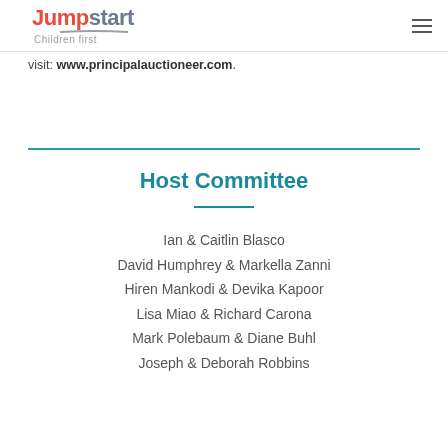Jumpstart Children first
visit: www.principalauctioneer.com.
Host Committee
Ian & Caitlin Blasco
David Humphrey & Markella Zanni
Hiren Mankodi & Devika Kapoor
Lisa Miao & Richard Carona
Mark Polebaum & Diane Buhl
Joseph & Deborah Robbins